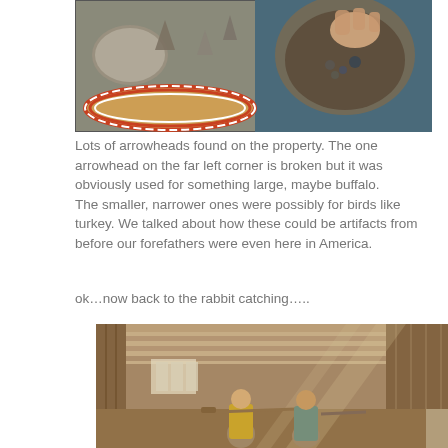[Figure (photo): Overhead view of arrowheads and stone artifacts found on the property, with a woven basket and someone's hand holding a decorated bowl with small stones/artifacts.]
Lots of arrowheads found on the property.  The one arrowhead on the far left corner is broken but it was obviously used for something large, maybe buffalo.
The smaller, narrower ones were possibly for birds like turkey.  We talked about how these could be artifacts from before our forefathers were even here in America.
ok…now back to the rabbit catching…..
[Figure (photo): Interior of a barn or wooden building with people visible inside, dusty light filtering through gaps in the wooden slat walls.]